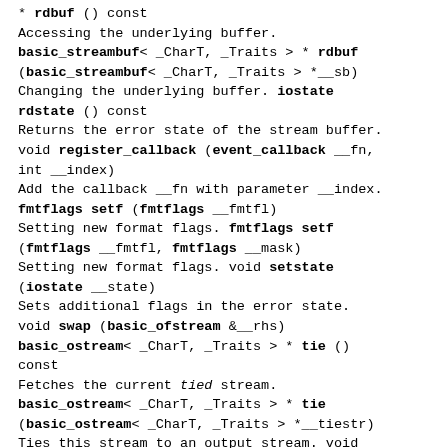* rdbuf () const
Accessing the underlying buffer.
basic_streambuf< _CharT, _Traits > * rdbuf (basic_streambuf< _CharT, _Traits > *__sb)
Changing the underlying buffer. iostate rdstate () const
Returns the error state of the stream buffer.
void register_callback (event_callback __fn, int __index)
Add the callback __fn with parameter __index.
fmtflags setf (fmtflags __fmtfl)
Setting new format flags. fmtflags setf (fmtflags __fmtfl, fmtflags __mask)
Setting new format flags. void setstate (iostate __state)
Sets additional flags in the error state.
void swap (basic_ofstream &__rhs)
basic_ostream< _CharT, _Traits > * tie () const
Fetches the current tied stream.
basic_ostream< _CharT, _Traits > * tie (basic_ostream< _CharT, _Traits > *__tiestr)
Ties this stream to an output stream. void